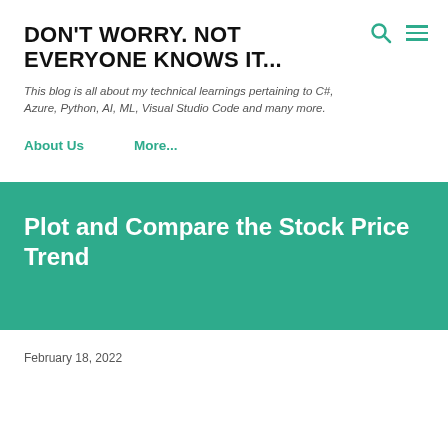DON'T WORRY. NOT EVERYONE KNOWS IT...
This blog is all about my technical learnings pertaining to C#, Azure, Python, AI, ML, Visual Studio Code and many more.
About Us
More...
Plot and Compare the Stock Price Trend
February 18, 2022